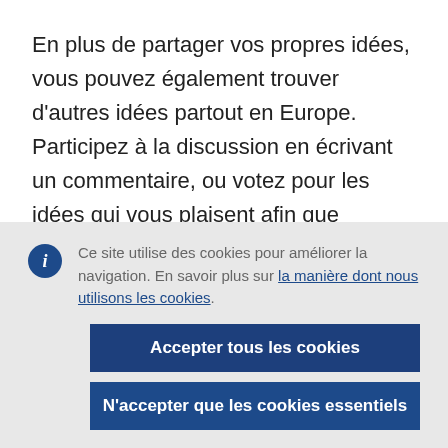En plus de partager vos propres idées, vous pouvez également trouver d'autres idées partout en Europe. Participez à la discussion en écrivant un commentaire, ou votez pour les idées qui vous plaisent afin que d'autres personnes
Ce site utilise des cookies pour améliorer la navigation. En savoir plus sur la manière dont nous utilisons les cookies.
Accepter tous les cookies
N'accepter que les cookies essentiels